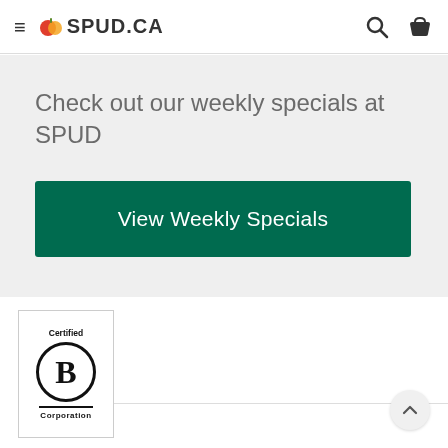SPUD.CA
Check out our weekly specials at SPUD
[Figure (other): Green button with text 'View Weekly Specials']
[Figure (logo): Certified B Corporation logo badge in a white bordered box]